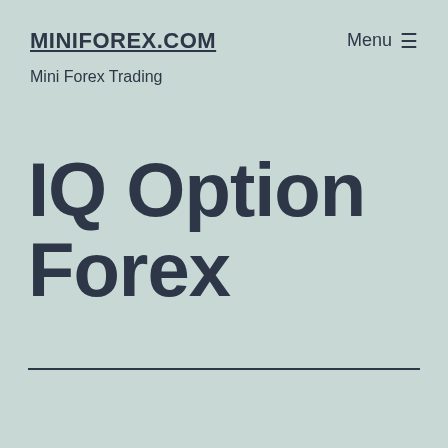MINIFOREX.COM
Mini Forex Trading
Menu ☰
IQ Option Forex